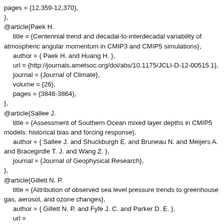pages = {12,359-12,370},
},
@article{Paek H.
  title = {Centennial trend and decadal-to-interdecadal variability of atmospheric angular momentum in CMIP3 and CMIP5 simulations},
  author = { Paek H. and Huang H. },
  url = {http://journals.ametsoc.org/doi/abs/10.1175/JCLI-D-12-00515.1},
  journal = {Journal of Climate},
  volume = {26},
  pages = {3846-3864},
},
@article{Sallee J.
  title = {Assessment of Southern Ocean mixed layer depths in CMIP5 models: historical bias and forcing response},
  author = { Sallee J. and Shuckburgh E. and Bruneau N. and Meijers A. and Bracegirdle T. J. and Wang Z. },
  journal = {Journal of Geophysical Research},
},
@article{Gillett N. P.
  title = {Attribution of observed sea level pressure trends to greenhouse gas, aerosol, and ozone changes},
  author = { Gillett N. P. and Fyfe J. C. and Parker D. E. },
  url =